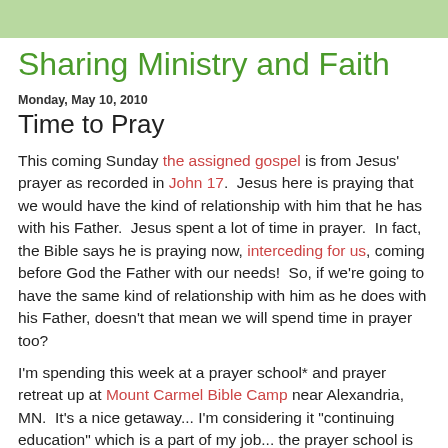Sharing Ministry and Faith
Monday, May 10, 2010
Time to Pray
This coming Sunday the assigned gospel is from Jesus' prayer as recorded in John 17.  Jesus here is praying that we would have the kind of relationship with him that he has with his Father.  Jesus spent a lot of time in prayer.  In fact, the Bible says he is praying now, interceding for us, coming before God the Father with our needs!  So, if we're going to have the same kind of relationship with him as he does with his Father, doesn't that mean we will spend time in prayer too?
I'm spending this week at a prayer school* and prayer retreat up at Mount Carmel Bible Camp near Alexandria, MN.  It's a nice getaway... I'm considering it "continuing education" which is a part of my job... the prayer school is being led by